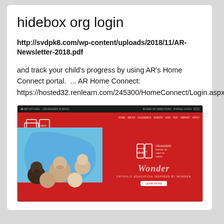hidebox org login
http://svdpk8.com/wp-content/uploads/2018/11/AR-Newsletter-2018.pdf
and track your child's progress by using AR's Home Connect portal.  ... AR Home Connect: https://hosted32.renlearn.com/245300/HomeConnect/Login.aspx.
[Figure (screenshot): Screenshot of a school website (Crusaders) with a dark top bar, red background, navigation menu, Crusaders logo top left, a photo of children looking up at the camera on the left side, and on the right side the Crusaders logo with text 'Wonder, Catholic Education Inspired by Wonder' and a Learn More button.]